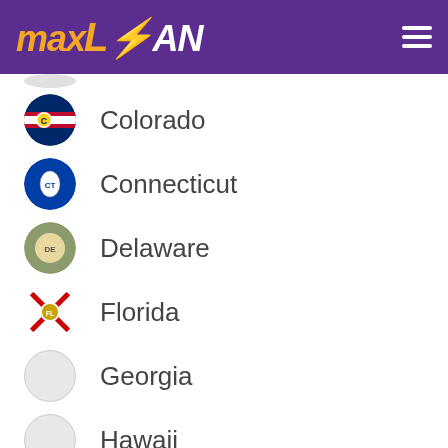MaxLoan
Colorado
Connecticut
Delaware
Florida
Georgia
Hawaii
Apply Now
Applying does NOT affect your credit score! No credit check to apply.